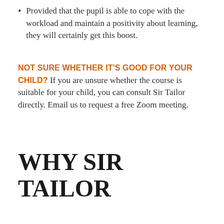Provided that the pupil is able to cope with the workload and maintain a positivity about learning, they will certainly get this boost.
NOT SURE WHETHER IT'S GOOD FOR YOUR CHILD?  If you are unsure whether the course is suitable for your child, you can consult Sir Tailor directly.  Email us to request a free Zoom meeting.
WHY SIR TAILOR
B. WHAT MAKES THIS COURSE SPECIAL?